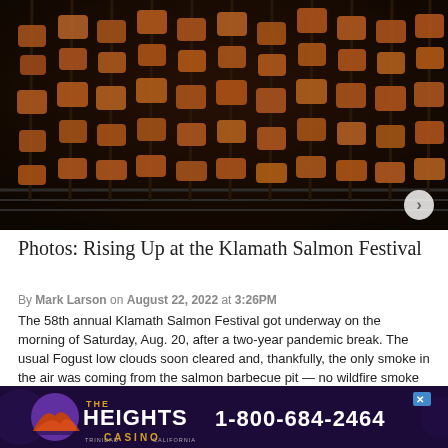[Figure (photo): Salmon pieces on skewers/stakes over a barbecue grill at the Klamath Salmon Festival, close-up shot showing many skewered salmon chunks arranged in rows]
Photos: Rising Up at the Klamath Salmon Festival
By Mark Larson on August 22, 2022 at 3:26PM
The 58th annual Klamath Salmon Festival got underway on the morning of Saturday, Aug. 20, after a two-year pandemic break. The usual Fogust low clouds soon cleared and, thankfully, the only smoke in the air was coming from the salmon barbecue pit — no wildfire smoke blew in from the nearby inland fires.
[Figure (other): Advertisement banner for The Heights Casino, Trinidad California, with phone number 1-800-684-2464, dark purple/maroon background with gold accents]